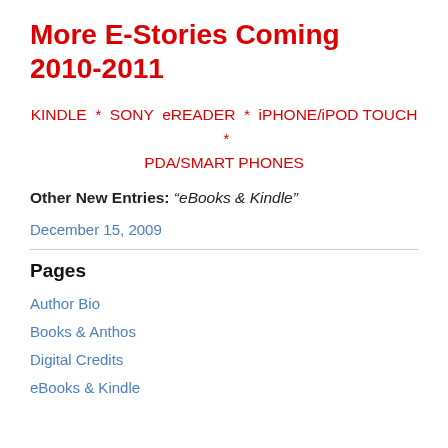More E-Stories Coming 2010-2011
KINDLE  *  SONY eREADER  *  iPHONE/iPOD TOUCH  *  PDA/SMART PHONES
Other New Entries: “eBooks & Kindle”
December 15, 2009
Pages
Author Bio
Books & Anthos
Digital Credits
eBooks & Kindle